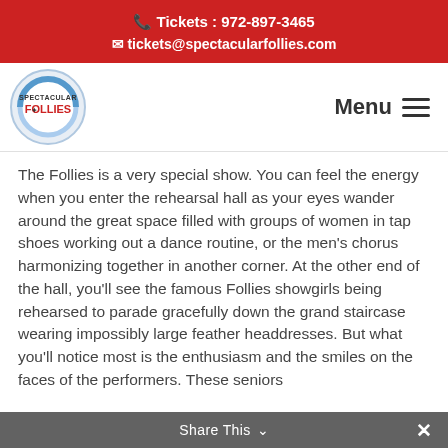Tickets : 972-897-3465
tickets@spectacularfollies.com
[Figure (logo): Spectacular Follies circular logo with blue/white ring and red/black text inside]
The Follies is a very special show. You can feel the energy when you enter the rehearsal hall as your eyes wander around the great space filled with groups of women in tap shoes working out a dance routine, or the men's chorus harmonizing together in another corner. At the other end of the hall, you'll see the famous Follies showgirls being rehearsed to parade gracefully down the grand staircase wearing impossibly large feather headdresses. But what you'll notice most is the enthusiasm and the smiles on the faces of the performers. These seniors
Share This